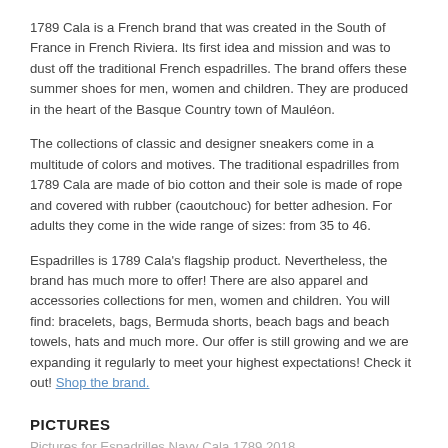1789 Cala is a French brand that was created in the South of France in French Riviera. Its first idea and mission and was to dust off the traditional French espadrilles. The brand offers these summer shoes for men, women and children. They are produced in the heart of the Basque Country town of Mauléon.
The collections of classic and designer sneakers come in a multitude of colors and motives. The traditional espadrilles from 1789 Cala are made of bio cotton and their sole is made of rope and covered with rubber (caoutchouc) for better adhesion. For adults they come in the wide range of sizes: from 35 to 46.
Espadrilles is 1789 Cala's flagship product. Nevertheless, the brand has much more to offer! There are also apparel and accessories collections for men, women and children. You will find: bracelets, bags, Bermuda shorts, beach bags and beach towels, hats and much more. Our offer is still growing and we are expanding it regularly to meet your highest expectations! Check it out! Shop the brand.
PICTURES
Pictures for Espadrilles Navy Cala 1789 2018